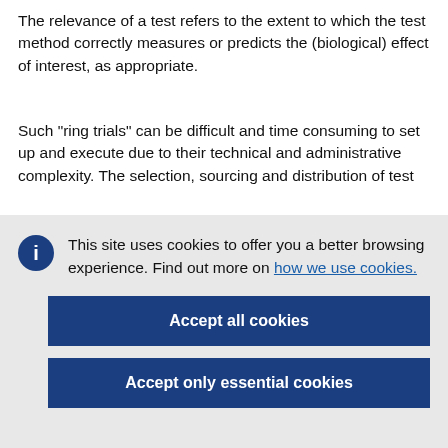The relevance of a test refers to the extent to which the test method correctly measures or predicts the (biological) effect of interest, as appropriate.
Such "ring trials" can be difficult and time consuming to set up and execute due to their technical and administrative complexity. The selection, sourcing and distribution of test
This site uses cookies to offer you a better browsing experience. Find out more on how we use cookies.
Accept all cookies
Accept only essential cookies